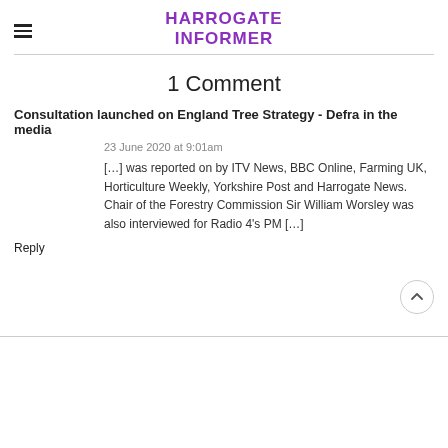HARROGATE INFORMER
1 Comment
Consultation launched on England Tree Strategy - Defra in the media
23 June 2020 at 9:01am
[…] was reported on by ITV News, BBC Online, Farming UK, Horticulture Weekly, Yorkshire Post and Harrogate News. Chair of the Forestry Commission Sir William Worsley was also interviewed for Radio 4's PM […]
Reply